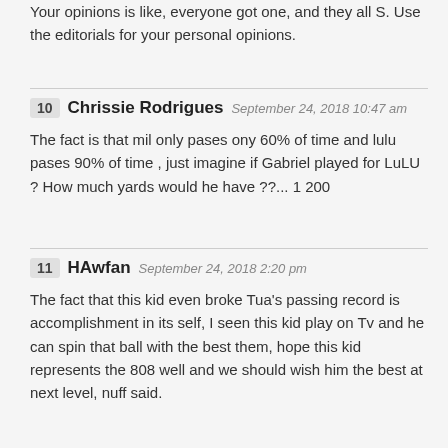Your opinions is like, everyone got one, and they all S. Use the editorials for your personal opinions.
10 Chrissie Rodrigues September 24, 2018 10:47 am
The fact is that mil only pases ony 60% of time and lulu pases 90% of time , just imagine if Gabriel played for LuLU ? How much yards would he have ??... 1200
11 HAwfan September 24, 2018 2:20 pm
The fact that this kid even broke Tua's passing record is accomplishment in its self, I seen this kid play on Tv and he can spin that ball with the best them, hope this kid represents the 808 well and we should wish him the best at next level, nuff said.